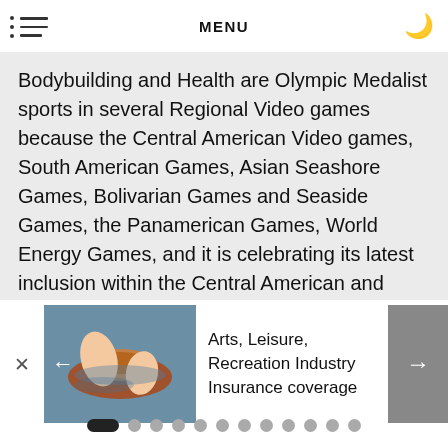MENU
Bodybuilding and Health are Olympic Medalist sports in several Regional Video games because the Central American Video games, South American Games, Asian Seashore Games, Bolivarian Games and Seaside Games, the Panamerican Games, World Energy Games, and it is celebrating its latest inclusion within the Central American and Caribbean Video games.
[Figure (photo): A person's hands working with clay on a pottery wheel, with blue and brown colors visible. An advertisement card for Arts, Leisure, Recreation Industry Insurance coverage with navigation arrows.]
Arts, Leisure, Recreation Industry Insurance coverage